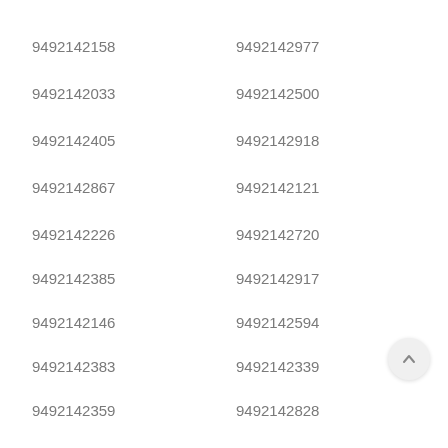9492142158
9492142977
9492142033
9492142500
9492142405
9492142918
9492142867
9492142121
9492142226
9492142720
9492142385
9492142917
9492142146
9492142594
9492142383
9492142339
9492142359
9492142828